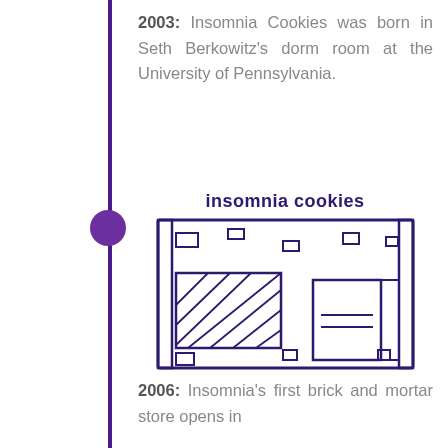2003: Insomnia Cookies was born in Seth Berkowitz's dorm room at the University of Pennsylvania.
[Figure (illustration): Line drawing illustration of a storefront with 'insomnia cookies' text above it. The store has a rectangular facade with scattered rectangular shapes (windows/decorations), a large window with diagonal cross-hatching on the left, a door with two horizontal lines on the right, and small rectangular shapes at the bottom.]
2006: Insomnia's first brick and mortar store opens in